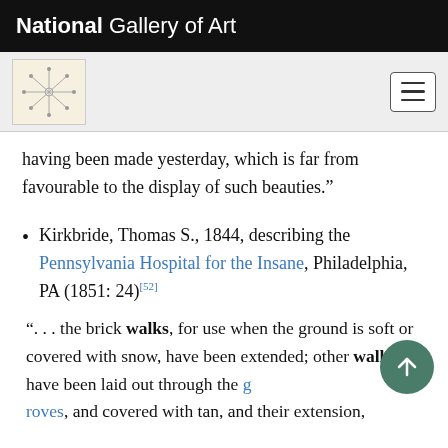National Gallery of Art
having been made yesterday, which is far from favourable to the display of such beauties.”
Kirkbride, Thomas S., 1844, describing the Pennsylvania Hospital for the Insane, Philadelphia, PA (1851: 24)[52]
“. . . the brick walks, for use when the ground is soft or covered with snow, have been extended; other walks have been laid out through the groves, and covered with tan, and their extension,